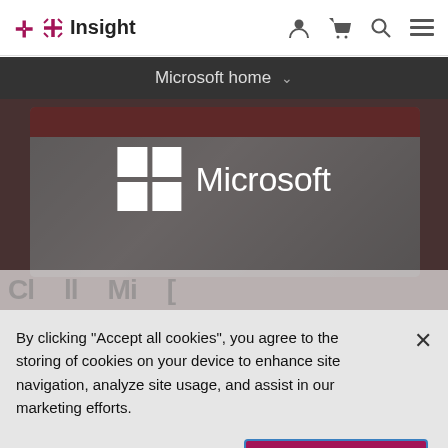Insight — header with logo and navigation icons
Microsoft home
[Figure (screenshot): Hero banner showing a laptop screen with a red toolbar, grey content area, overlaid with Microsoft logo (4-square grid icon and Microsoft wordmark in white) on a dark brownish-grey background.]
By clicking “Accept all cookies”, you agree to the storing of cookies on your device to enhance site navigation, analyze site usage, and assist in our marketing efforts.
Cookies settings
Accept all cookies